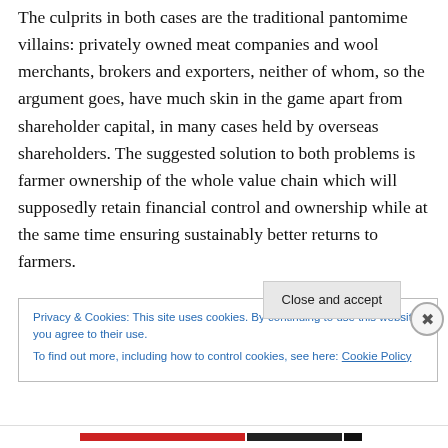The culprits in both cases are the traditional pantomime villains: privately owned meat companies and wool merchants, brokers and exporters, neither of whom, so the argument goes, have much skin in the game apart from shareholder capital, in many cases held by overseas shareholders. The suggested solution to both problems is farmer ownership of the whole value chain which will supposedly retain financial control and ownership while at the same time ensuring sustainably better returns to farmers.
Privacy & Cookies: This site uses cookies. By continuing to use this website, you agree to their use. To find out more, including how to control cookies, see here: Cookie Policy